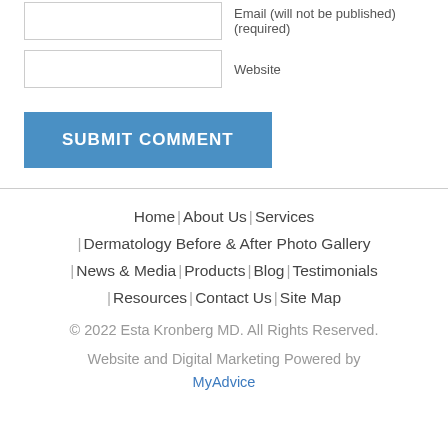[Figure (screenshot): Form input field for Email with label 'Email (will not be published) (required)']
[Figure (screenshot): Form input field for Website with label 'Website']
[Figure (screenshot): Blue submit button labeled 'SUBMIT COMMENT']
Home | About Us | Services | Dermatology Before & After Photo Gallery | News & Media | Products | Blog | Testimonials | Resources | Contact Us | Site Map
© 2022 Esta Kronberg MD. All Rights Reserved.
Website and Digital Marketing Powered by MyAdvice